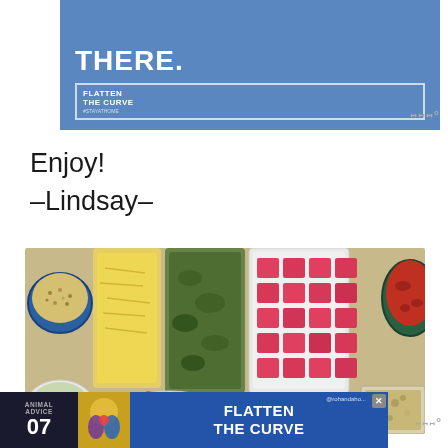[Figure (infographic): Blue 'Flatten the Curve' stay at home advertisement banner with white bold text 'THERE.' and a house-shaped logo]
Enjoy!
–Lindsay–
[Figure (photo): Overhead/top-down view of meal prep containers on a granite countertop: grains in a blue bowl, shredded cheese in a bag, chopped greens in a bag, diced watermelon in a container, red sauce in a pot, a salad, carrots in a bowl, meatballs in a container, and a casserole dish with crumb topping]
[Figure (infographic): Bottom advertisement banner: dark panel with 'ANIMAL ADVICE 07', colorful animal illustration, blue panel with 'FLATTEN THE CURVE' text in white, @rohandaho handle, close button, and Mediavine logo]